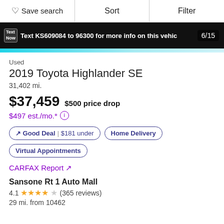Save search | Sort | Filter
[Figure (screenshot): Car photo banner with text message overlay: Text KS609084 to 96300 for more info on this vehicle. Page counter showing 6/15.]
Used
2019 Toyota Highlander SE
31,402 mi.
$37,459  $500 price drop
$497 est./mo.*
↗ Good Deal | $181 under  Home Delivery  Virtual Appointments
CARFAX Report ↗
Sansone Rt 1 Auto Mall
4.1 ★★★★☆ (365 reviews)
29 mi. from 10462